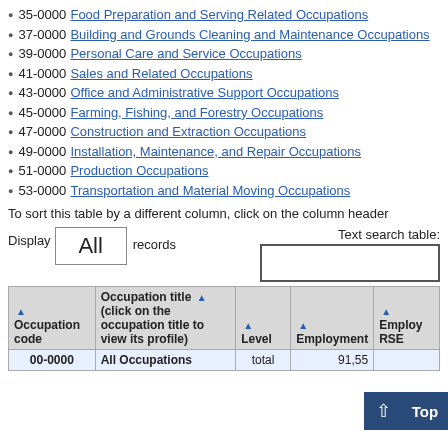35-0000 Food Preparation and Serving Related Occupations
37-0000 Building and Grounds Cleaning and Maintenance Occupations
39-0000 Personal Care and Service Occupations
41-0000 Sales and Related Occupations
43-0000 Office and Administrative Support Occupations
45-0000 Farming, Fishing, and Forestry Occupations
47-0000 Construction and Extraction Occupations
49-0000 Installation, Maintenance, and Repair Occupations
51-0000 Production Occupations
53-0000 Transportation and Material Moving Occupations
To sort this table by a different column, click on the column header
| Occupation code | Occupation title (click on the occupation title to view its profile) | Level | Employment | Employment RSE |
| --- | --- | --- | --- | --- |
| 00-0000 | All Occupations | total | 91,55... |  |